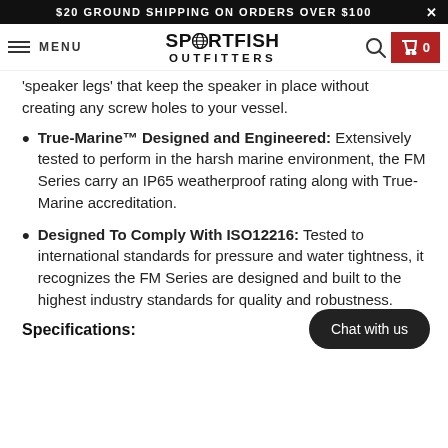$20 GROUND SHIPPING ON ORDERS OVER $100
[Figure (logo): Sportfish Outfitters logo with globe icon]
'speaker legs' that keep the speaker in place without creating any screw holes to your vessel.
True-Marine™ Designed and Engineered: Extensively tested to perform in the harsh marine environment, the FM Series carry an IP65 weatherproof rating along with True-Marine accreditation.
Designed To Comply With ISO12216: Tested to international standards for pressure and water tightness, it recognizes the FM Series are designed and built to the highest industry standards for quality and robustness.
Specifications: